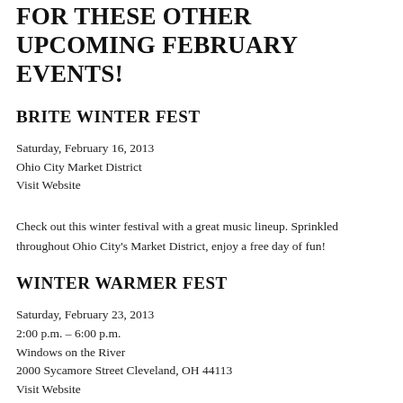FOR THESE OTHER UPCOMING FEBRUARY EVENTS!
BRITE WINTER FEST
Saturday, February 16, 2013
Ohio City Market District
Visit Website
Check out this winter festival with a great music lineup. Sprinkled throughout Ohio City's Market District, enjoy a free day of fun!
WINTER WARMER FEST
Saturday, February 23, 2013
2:00 p.m. – 6:00 p.m.
Windows on the River
2000 Sycamore Street Cleveland, OH 44113
Visit Website